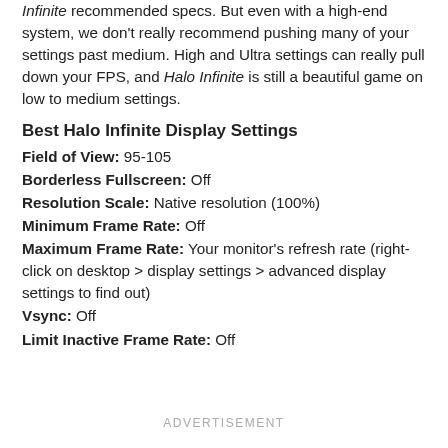Infinite recommended specs. But even with a high-end system, we don't really recommend pushing many of your settings past medium. High and Ultra settings can really pull down your FPS, and Halo Infinite is still a beautiful game on low to medium settings.
Best Halo Infinite Display Settings
Field of View: 95-105
Borderless Fullscreen: Off
Resolution Scale: Native resolution (100%)
Minimum Frame Rate: Off
Maximum Frame Rate: Your monitor's refresh rate (right-click on desktop > display settings > advanced display settings to find out)
Vsync: Off
Limit Inactive Frame Rate: Off
ADVERTISEMENT